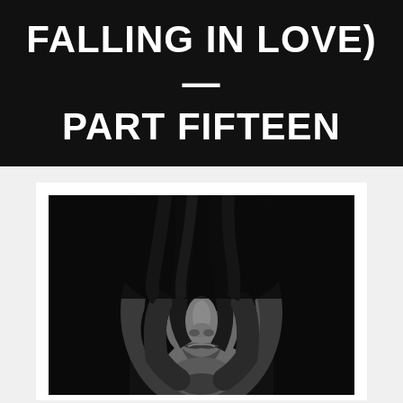FALLING IN LOVE) — PART FIFTEEN
[Figure (photo): Black and white close-up portrait photograph of a woman with dark hair covering her eyes, showing only her nose and lips. The image has a dramatic, moody aesthetic with heavy shadows.]